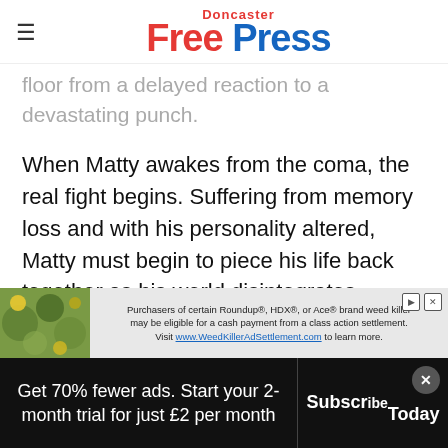Doncaster Free Press
...moments later collapsed on the living room floor from a delayed reaction to a devastating punch.
When Matty awakes from the coma, the real fight begins. Suffering from memory loss and with his personality altered, Matty must begin to piece his life back together as his world disintegrates.
[Figure (advertisement): Advertisement for Roundup/HDX/Ace weed killer class action settlement. Visit www.WeedKillerAdSettlement.com to learn more.]
Get 70% fewer ads. Start your 2-month trial for just £2 per month
Subscribe Today